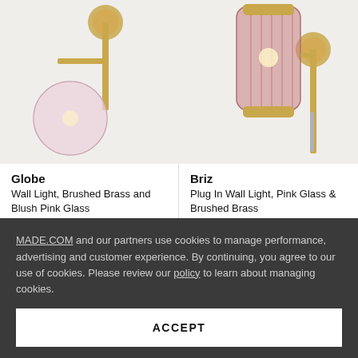[Figure (photo): Globe wall light with brushed brass fitting and blush pink glass globe shade, partial product photo]
Globe
Wall Light, Brushed Brass and Blush Pink Glass
£ 55
[Figure (photo): Briz plug-in wall light with pink ribbed glass shade and brushed brass fitting, partial product photo]
Briz
Plug In Wall Light, Pink Glass & Brushed Brass
£ 60
MADE.COM and our partners use cookies to manage performance, advertising and customer experience. By continuing, you agree to our use of cookies. Please review our policy to learn about managing cookies.
ACCEPT